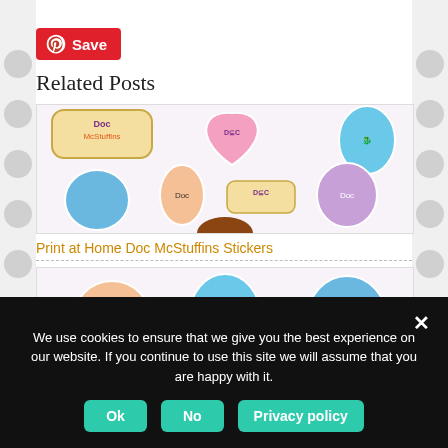[Figure (logo): Pinterest Save button with Pinterest circle P logo in red/white on red background]
Related Posts
[Figure (photo): Doc McStuffins character stickers printable sheet showing various characters including dragon Stuffy, Doc herself, and logo badge stickers on white background]
Print at Home Doc McStuffins Stickers
[Figure (photo): Second Doc McStuffins sticker sheet showing characters including Doc, Stuffy dragon, and logo badges]
We use cookies to ensure that we give you the best experience on our website. If you continue to use this site we will assume that you are happy with it.
Ok   No   Privacy policy